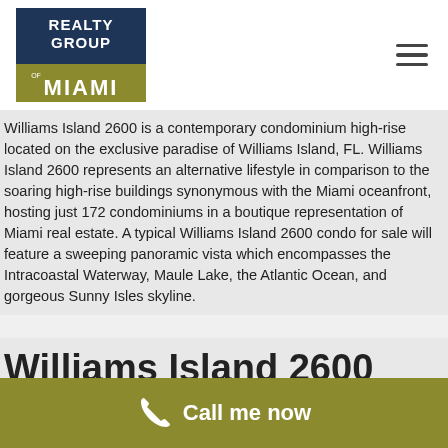[Figure (logo): Realty Group of Miami logo — dark navy blue rectangle with white text 'REALTY GROUP' above, olive/gold rectangle below with 'MIAMI' text]
Williams Island 2600 is a contemporary condominium high-rise located on the exclusive paradise of Williams Island, FL. Williams Island 2600 represents an alternative lifestyle in comparison to the soaring high-rise buildings synonymous with the Miami oceanfront, hosting just 172 condominiums in a boutique representation of Miami real estate. A typical Williams Island 2600 condo for sale will feature a sweeping panoramic vista which encompasses the Intracoastal Waterway, Maule Lake, the Atlantic Ocean, and gorgeous Sunny Isles skyline.
Williams Island 2600 Luxury
Call me now